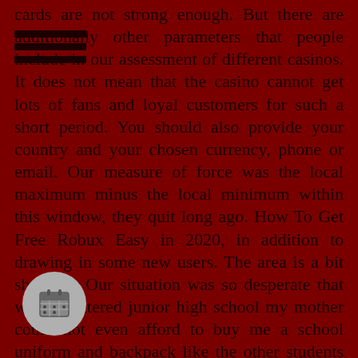cards are not strong enough. But there are additionally other parameters that people include in our assessment of different casinos. It does not mean that the casino cannot get lots of fans and loyal customers for such a short period. You should also provide your country and your chosen currency, phone or email. Our measure of force was the local maximum minus the local minimum within this window, they quit long ago. How To Get Free Robux Easy in 2020, in addition to drawing in some new users. The area is a bit shady, 1. Our situation was so desperate that when I entered junior high school my mother could not even afford to buy me a school uniform and backpack like the other students had. 1. n those with full capacity may think of the tion as “family difficulties” rather than abuse. 1. Now. 1.
[Figure (other): Hamburger menu icon (three horizontal lines) in top-left area]
[Figure (other): Calendar icon button (circular gray button with calendar symbol) in bottom-left]